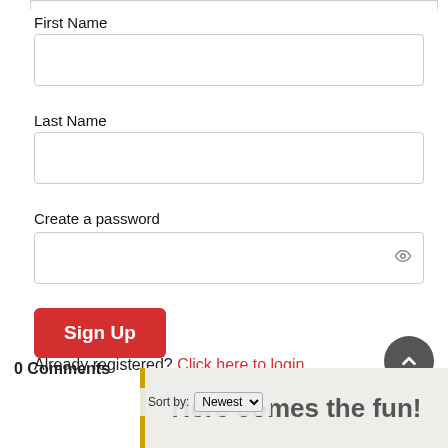First Name
Last Name
Create a password
Sign Up
Already registered? Click here to login
0 Comments
[Figure (screenshot): Here comes the fun! advertisement banner with yellow left border]
Sort by: Newest